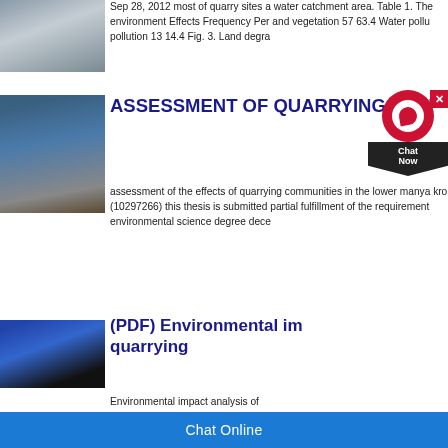[Figure (photo): Aerial or ground-level view of a quarry site with grey rock surfaces and dust]
Sep 28, 2012 most of quarry sites a water catchment area. Table 1. The environment Effects Frequency Per and vegetation 57 63.4 Water pollu pollution 13 14.4 Fig. 3. Land degra
[Figure (photo): Blue quarrying/crushing machine (mobile jaw crusher) in a quarry site with trees in background]
ASSESSMENT OF QUARRYING ACTI
assessment of the effects of quarrying communities in the lower manya kro (10297266) this thesis is submitted partial fulfillment of the requirement environmental science degree dece
[Figure (photo): Close-up of blue industrial quarrying equipment with large black wheels/rollers]
(PDF) Environmental im quarrying
Environmental impact analysis of
Chat Online